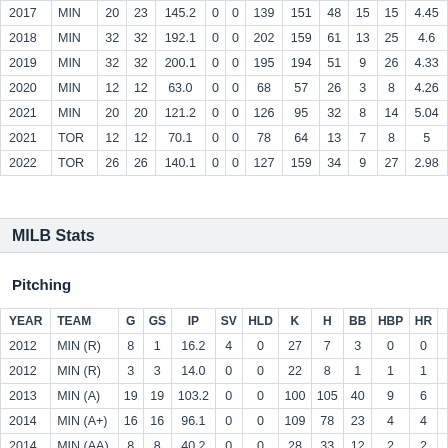| YEAR | TEAM | G | GS | IP | SV | HLD | K | H | BB | HBP | HR |  |
| --- | --- | --- | --- | --- | --- | --- | --- | --- | --- | --- | --- | --- |
| 2017 | MIN | 20 | 23 | 145.2 | 0 | 0 | 139 | 151 | 48 | 15 | 15 | 4.45 |
| 2018 | MIN | 32 | 32 | 192.1 | 0 | 0 | 202 | 159 | 61 | 13 | 25 | 4.6 |
| 2019 | MIN | 32 | 32 | 200.1 | 0 | 0 | 195 | 194 | 51 | 9 | 26 | 4.33 |
| 2020 | MIN | 12 | 12 | 63.0 | 0 | 0 | 68 | 57 | 26 | 3 | 8 | 4.26 |
| 2021 | MIN | 20 | 20 | 121.2 | 0 | 0 | 126 | 95 | 32 | 8 | 14 | 5.04 |
| 2021 | TOR | 12 | 12 | 70.1 | 0 | 0 | 78 | 64 | 13 | 7 | 8 | 5 |
| 2022 | TOR | 26 | 26 | 140.1 | 0 | 0 | 127 | 159 | 34 | 9 | 27 | 2.98 |
MILB Stats
Pitching
| YEAR | TEAM | G | GS | IP | SV | HLD | K | H | BB | HBP | HR |  |
| --- | --- | --- | --- | --- | --- | --- | --- | --- | --- | --- | --- | --- |
| 2012 | MIN (R) | 8 | 1 | 16.2 | 4 | 0 | 27 | 7 | 3 | 0 | 0 |  |
| 2012 | MIN (R) | 3 | 3 | 14.0 | 0 | 0 | 22 | 8 | 1 | 1 | 1 |  |
| 2013 | MIN (A) | 19 | 19 | 103.2 | 0 | 0 | 100 | 105 | 40 | 9 | 6 |  |
| 2014 | MIN (A+) | 16 | 16 | 96.1 | 0 | 0 | 109 | 78 | 23 | 4 | 4 |  |
| 2014 | MIN (AA) | 8 | 8 | 40.2 | 0 | 0 | 28 | 33 | 12 | 2 | 2 |  |